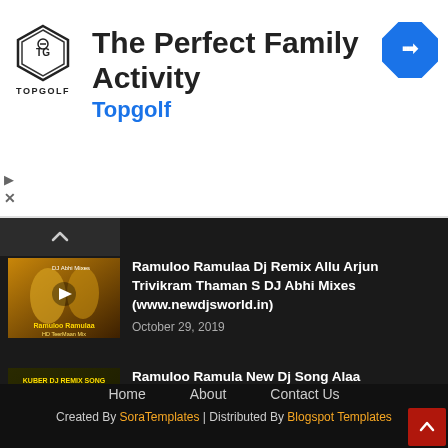[Figure (screenshot): Topgolf ad banner with logo, title 'The Perfect Family Activity', subtitle 'Topgolf', and navigation arrow icon]
Ramuloo Ramulaa Dj Remix Allu Arjun Trivikram Thaman S DJ Abhi Mixes (www.newdjsworld.in)
October 29, 2019
Ramuloo Ramula New Dj Song Alaa Vaikuntapuram lo Dj Songs Allu arjun(www.newdjsworld.in)
October 28, 2019
Home   About   Contact Us
Created By SoraTemplates | Distributed By Blogspot Templates